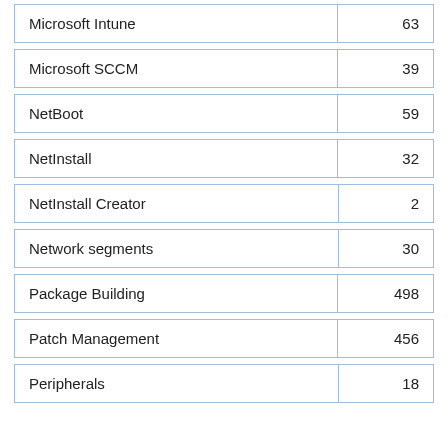|  |  |
| --- | --- |
| Microsoft Intune | 63 |
| Microsoft SCCM | 39 |
| NetBoot | 59 |
| NetInstall | 32 |
| NetInstall Creator | 2 |
| Network segments | 30 |
| Package Building | 498 |
| Patch Management | 456 |
| Peripherals | 18 |